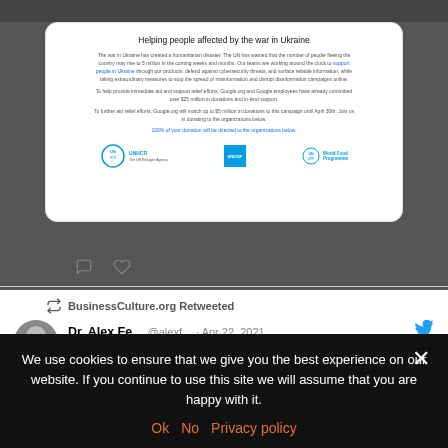[Figure (screenshot): Screenshot of a Google donation page: Helping people affected by the war in Ukraine, with UNHCR, UNICEF and WFP logos]
BusinessCulture.org Retweeted
Dr. Alex Fe... @alexf... · Apr 22, 2021
Very happy & excited to announce our next Disruptive Tech Cluster speaker (28 Apr) is
We use cookies to ensure that we give you the best experience on our website. If you continue to use this site we will assume that you are happy with it.
Ok  No  Privacy policy